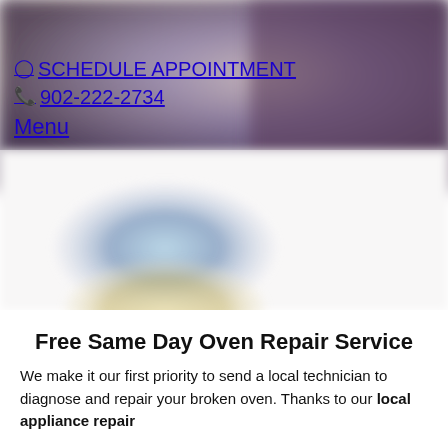[Figure (photo): Blurred background hero image showing kitchen/oven appliance setting with purple and beige tones, with a smaller blurred image of appliance below on left side]
SCHEDULE APPOINTMENT
902-222-2734
Menu
Free Same Day Oven Repair Service
We make it our first priority to send a local technician to diagnose and repair your broken oven. Thanks to our local appliance repair